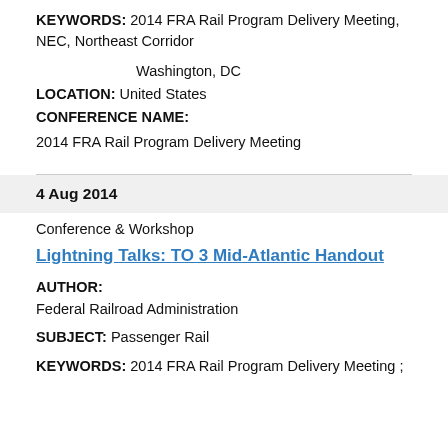KEYWORDS: 2014 FRA Rail Program Delivery Meeting, NEC, Northeast Corridor
Washington, DC
LOCATION: United States
CONFERENCE NAME:
2014 FRA Rail Program Delivery Meeting
4 Aug 2014
Conference & Workshop
Lightning Talks: TO 3 Mid-Atlantic Handout
AUTHOR:
Federal Railroad Administration
SUBJECT: Passenger Rail
KEYWORDS: 2014 FRA Rail Program Delivery Meeting ;